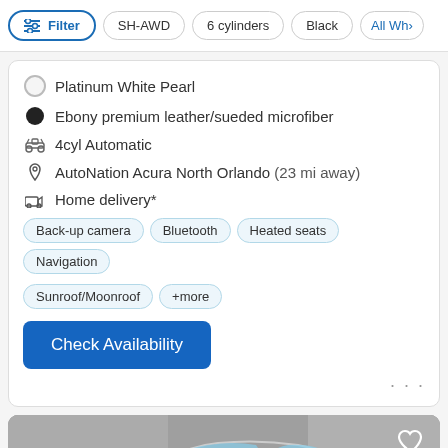Filter | SH-AWD | 6 cylinders | Black | All Wh>
Platinum White Pearl
Ebony premium leather/sueded microfiber
4cyl Automatic
AutoNation Acura North Orlando (23 mi away)
Home delivery*
Back-up camera  Bluetooth  Heated seats  Navigation  Sunroof/Moonroof  +more
Check Availability
[Figure (photo): Car listing photo showing a white/silver sedan (Acura) photographed from the front-left angle against a grey wall background. A heart/favorite icon is in the top-right corner.]